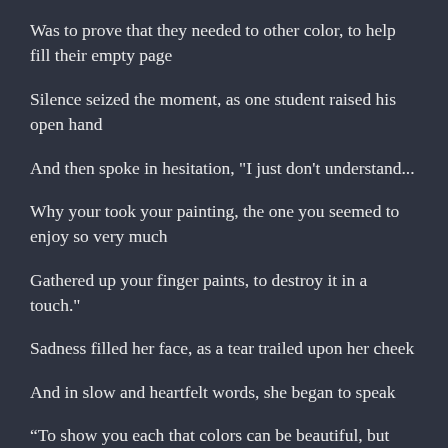Was to prove that they needed to other color, to help fill their empty page
Silence seized the moment, as one student raised his open hand
And then spoke in hesitation, "I just don't understand...
Why your took your painting, the one you seemed to enjoy so very much
Gathered up your finger paints, to destroy it in a touch."
Sadness filled her face, as a tear trailed upon her cheek
And in slow and heartfelt words, she began to speak
“To show you each that colors can be beautiful, but they also can destroy